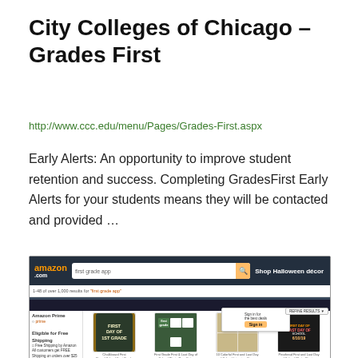City Colleges of Chicago – Grades First
http://www.ccc.edu/menu/Pages/Grades-First.aspx
Early Alerts: An opportunity to improve student retention and success. Completing GradesFirst Early Alerts for your students means they will be contacted and provided …
[Figure (screenshot): Screenshot of Amazon.com search results page for 'first grade app', showing Amazon navigation bar, search bar, Halloween décor promotion, sidebar filters (Amazon Prime, etc.), and product thumbnails including 'First Day of 1st Grade' chalkboard signs and related school photo prop items.]